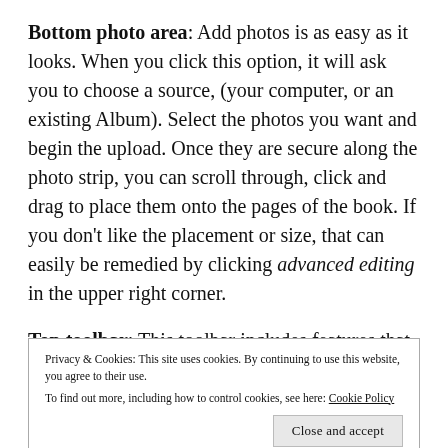Bottom photo area: Add photos is as easy as it looks. When you click this option, it will ask you to choose a source, (your computer, or an existing Album). Select the photos you want and begin the upload. Once they are secure along the photo strip, you can scroll through, click and drag to place them onto the pages of the book. If you don't like the placement or size, that can easily be remedied by clicking advanced editing in the upper right corner.
Top toolbar: This toolbar includes features that
Privacy & Cookies: This site uses cookies. By continuing to use this website, you agree to their use. To find out more, including how to control cookies, see here: Cookie Policy
when you are satisfied that it is complete.